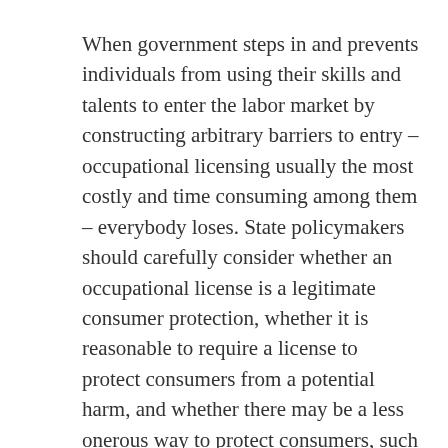When government steps in and prevents individuals from using their skills and talents to enter the labor market by constructing arbitrary barriers to entry – occupational licensing usually the most costly and time consuming among them – everybody loses. State policymakers should carefully consider whether an occupational license is a legitimate consumer protection, whether it is reasonable to require a license to protect consumers from a potential harm, and whether there may be a less onerous way to protect consumers, such as inspections or insurance requirements.
It is certainly true that there is a role for occupational licenses when it comes to highly specialized occupations, like doctors and lawyers. But when occupational licensing laws prevent florists or snow-shoveling teenagers from being